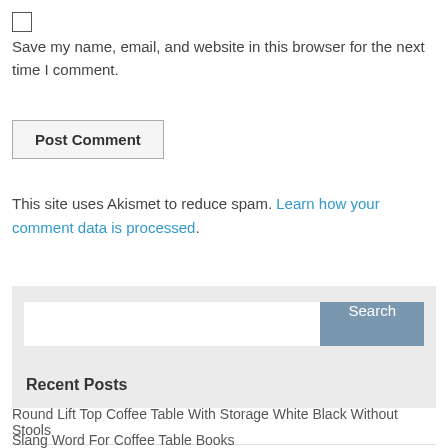Save my name, email, and website in this browser for the next time I comment.
Post Comment
This site uses Akismet to reduce spam. Learn how your comment data is processed.
[Figure (screenshot): Search widget with text input and Search button]
Recent Posts
Round Lift Top Coffee Table With Storage White Black Without Stools
Slang Word For Coffee Table Books